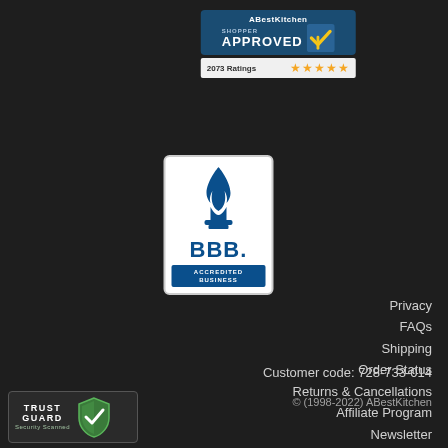[Figure (logo): ABestKitchen Shopper Approved badge with 2073 ratings and 5 stars]
[Figure (logo): BBB Accredited Business badge with blue flame logo]
Privacy
FAQs
Shipping
Order Status
Returns & Cancellations
Affiliate Program
Newsletter
Ordering Info
Customer code: 728-733-014
© (1998-2022) ABestKitchen
[Figure (logo): TrustGuard Security Scanned badge with shield icon]